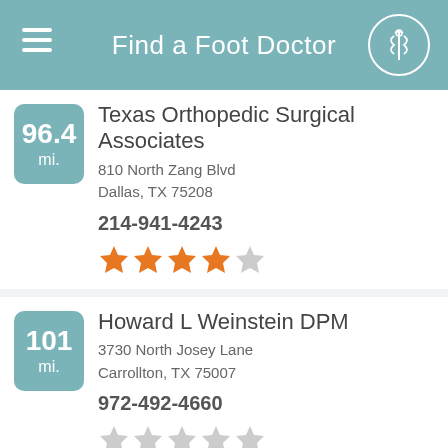Find a Foot Doctor
96.4 mi. — Texas Orthopedic Surgical Associates
810 North Zang Blvd, Dallas, TX 75208
214-941-4243
4 out of 5 stars
101 mi. — Howard L Weinstein DPM
3730 North Josey Lane, Carrollton, TX 75007
972-492-4660
0 out of 5 stars
97.5 — Complete Foot and Ankle